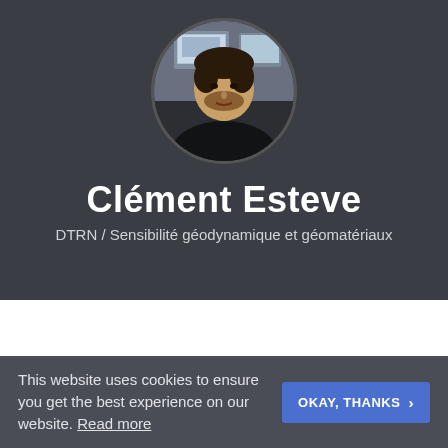[Figure (photo): Circular profile photo of a young man with a beard, wearing a dark sweater, with computer screens visible in the background. Background is dark gray.]
Clément Esteve
DTRN / Sensibilité géodynamique et géomatériaux
This website uses cookies to ensure you get the best experience on our website. Read more